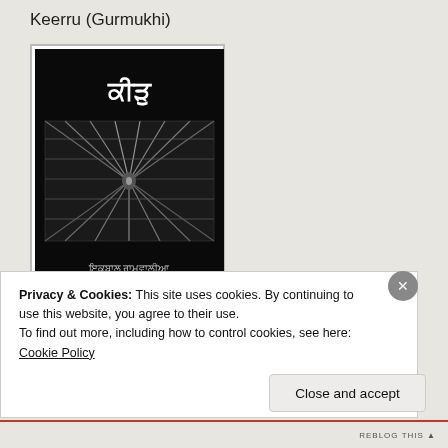Keerru (Gurmukhi)
[Figure (illustration): Book cover of 'Keerru' in Gurmukhi script. Black background with Gurmukhi title text at top and a black-and-white architectural/structural photograph in the center showing radial steel beams or scaffolding converging to a central point. Author name in Gurmukhi script at the bottom.]
Privacy & Cookies: This site uses cookies. By continuing to use this website, you agree to their use.
To find out more, including how to control cookies, see here: Cookie Policy
Close and accept